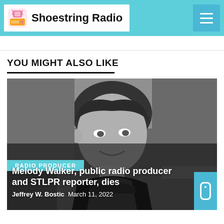Shoestring Radio
YOU MIGHT ALSO LIKE
[Figure (photo): Black and white photograph of Melody Walker, a woman with short dark hair, smiling, seated at a desk surrounded by books and art supplies. Overlay text shows category badge 'RADIO PRODUCER', article title 'Melody Walker, public radio producer and STLPR reporter, dies', author 'Jeffrey W. Bostic', and date 'March 11, 2022'.]